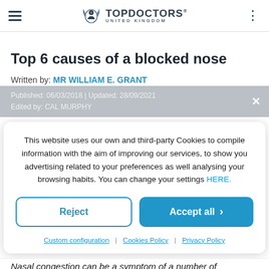TOP DOCTORS UNITED KINGDOM
Top 6 causes of a blocked nose
Written by: MR WILLIAM E. GRANT
Published: 06/03/2018 | Updated: 28/09/2021
Edited by: CAL MURPHY
This website uses our own and third-party Cookies to compile information with the aim of improving our services, to show you advertising related to your preferences as well analysing your browsing habits. You can change your settings HERE.
Reject | Accept all
Custom configuration | Cookies Policy | Privacy Policy
Nasal congestion can be a symptom of a number of